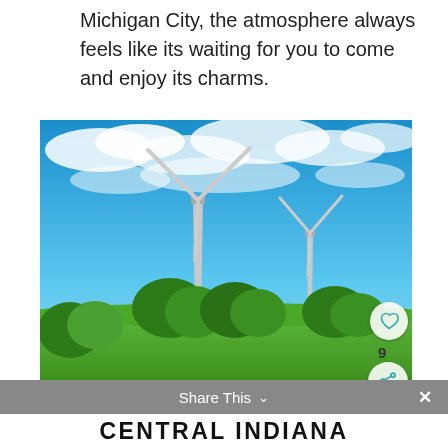Michigan City, the atmosphere always feels like its waiting for you to come and enjoy its charms.
[Figure (photo): Two wind turbines rising over a green field with trees and a bright blue sky with scattered clouds.]
WHAT'S NEXT → 15 Romantic Getaways In...
Share This ∨
CENTRAL INDIANA